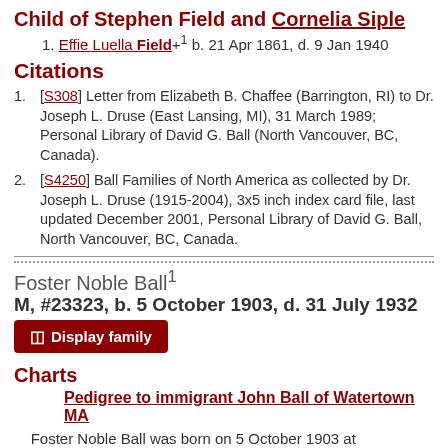Child of Stephen Field and Cornelia Siple
1. Effie Luella Field+1 b. 21 Apr 1861, d. 9 Jan 1940
Citations
1. [S308] Letter from Elizabeth B. Chaffee (Barrington, RI) to Dr. Joseph L. Druse (East Lansing, MI), 31 March 1989; Personal Library of David G. Ball (North Vancouver, BC, Canada).
2. [S4250] Ball Families of North America as collected by Dr. Joseph L. Druse (1915-2004), 3x5 inch index card file, last updated December 2001, Personal Library of David G. Ball, North Vancouver, BC, Canada.
Foster Noble Ball1
M, #23323, b. 5 October 1903, d. 31 July 1932
Charts
Pedigree to immigrant John Ball of Watertown MA
Foster Noble Ball was born on 5 October 1903 at Ferrisburgh, Addison Co., VT.2 He was the son of Noble Lansing Ball and Effie Luella Field.1 Foster Noble Ball died on 31 July 1932 at age 28.3 He was buried at